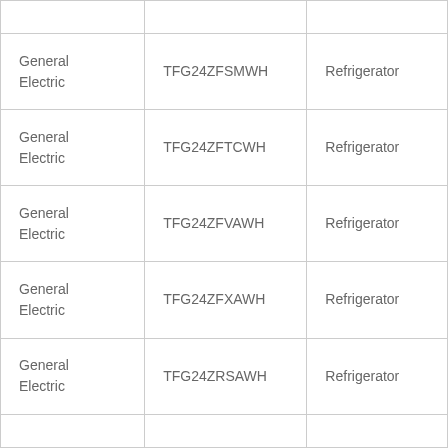|  |  |  |
| General Electric | TFG24ZFSMWH | Refrigerator |
| General Electric | TFG24ZFTCWH | Refrigerator |
| General Electric | TFG24ZFVAWH | Refrigerator |
| General Electric | TFG24ZFXAWH | Refrigerator |
| General Electric | TFG24ZRSAWH | Refrigerator |
|  |  |  |